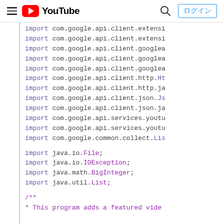YouTube header navigation bar
import com.google.api.client.extensi
import com.google.api.client.extensi
import com.google.api.client.googlea
import com.google.api.client.googlea
import com.google.api.client.googlea
import com.google.api.client.http.Ht
import com.google.api.client.http.ja
import com.google.api.client.json.Js
import com.google.api.client.json.ja
import com.google.api.services.youtu
import com.google.api.services.youtu
import com.google.common.collect.Lis

import java.io.File;
import java.io.IOException;
import java.math.BigInteger;
import java.util.List;

/**
 * This program adds a featured vide